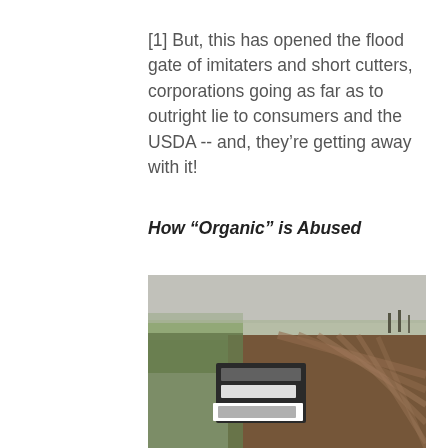[1] But, this has opened the flood gate of imitaters and short cutters, corporations going as far as to outright lie to consumers and the USDA -- and, they're getting away with it!
How “Organic” is Abused
[Figure (photo): A blurry photograph of a farm field with rows of soil and a sign in the middle distance, with overcast sky and green field visible on the left.]